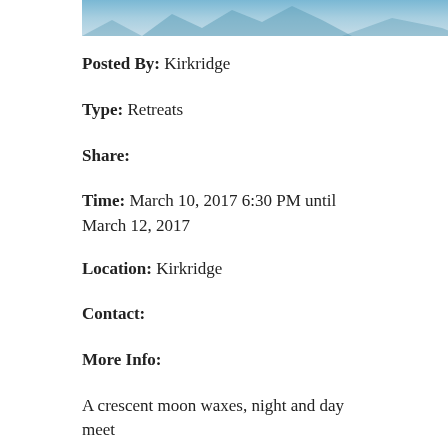[Figure (photo): Partial image strip visible at the top of the page, showing a sky/nature scene]
Posted By: Kirkridge
Type: Retreats
Share:
Time: March 10, 2017 6:30 PM until March 12, 2017
Location: Kirkridge
Contact:
More Info:
A crescent moon waxes, night and day meet